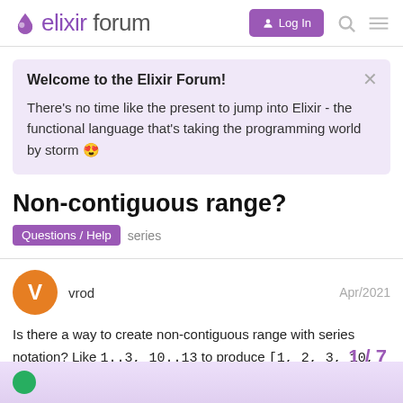elixir forum — Log In
Welcome to the Elixir Forum! There's no time like the present to jump into Elixir - the functional language that's taking the programming world by storm 😍
Non-contiguous range?
Questions / Help   series
vrod   Apr/2021
Is there a way to create non-contiguous range with series notation? Like 1..3, 10..13 to produce [1, 2, 3, 10, 11, 13] ?
1 / 7